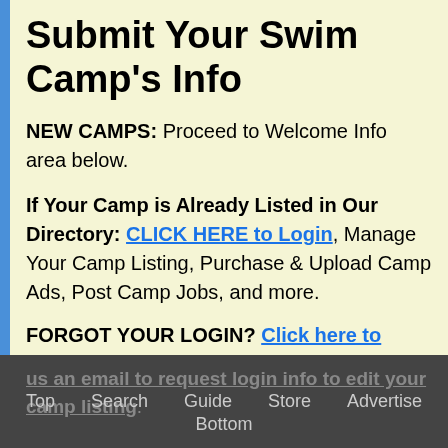Submit Your Swim Camp's Info
NEW CAMPS: Proceed to Welcome Info area below.
If Your Camp is Already Listed in Our Directory: CLICK HERE to Login, Manage Your Camp Listing, Purchase & Upload Camp Ads, Post Camp Jobs, and more.
FORGOT YOUR LOGIN? Click here to send us an email to request login info to edit your camp listing.
Top   Search   Guide   Store   Advertise   Bottom